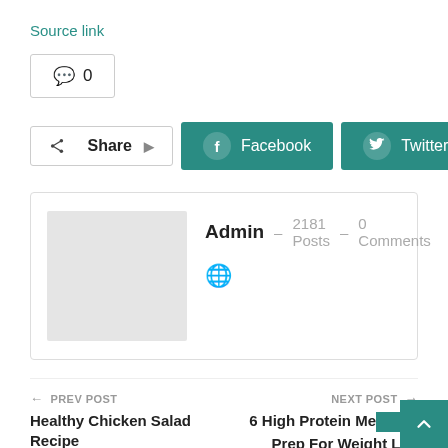Source link
💬 0
Share  Facebook  Twitter  +
Admin – 2181 Posts – 0 Comments
← PREV POST
Healthy Chicken Salad Recipe
NEXT POST →
6 High Protein Meal Prep For Weight Los…